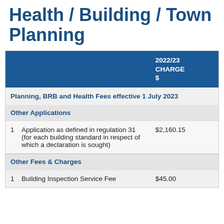Health / Building / Town Planning
|  | 2022/23 CHARGE $ |
| --- | --- |
| Planning, BRB and Health Fees effective 1 July 2023 |  |
| Other Applications |  |
| 1   Application as defined in regulation 31 (for each building standard in respect of which a declaration is sought) | $2,160.15 |
| Other Fees & Charges |  |
| 1   Building Inspection Service Fee | $45.00 |